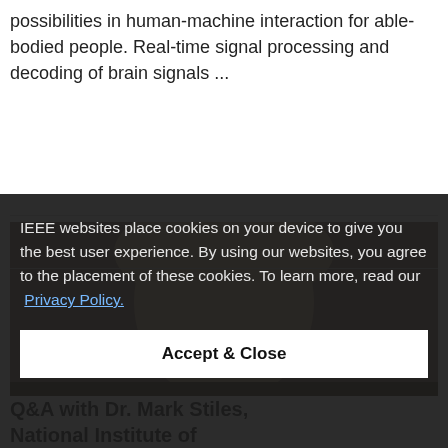possibilities in human-machine interaction for able-bodied people. Real-time signal processing and decoding of brain signals ...
[Figure (photo): Portrait photo of a person, partially visible, dark background, cropped.]
IEEE websites place cookies on your device to give you the best user experience. By using our websites, you agree to the placement of these cookies. To learn more, read our Privacy Policy.
Accept & Close
Q&A with Dr. Mark Stiles, National Institute of